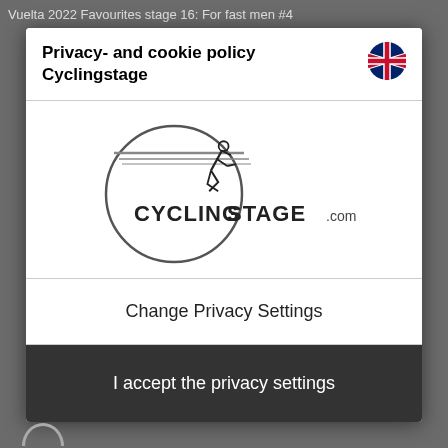Vuelta 2022 Favourites stage 16: For fast men #4
Privacy- and cookie policy Cyclingstage
[Figure (logo): Cycling Stage .com logo — a circle outline with a cyclist silhouette and speed lines at top, text CYCLING STAGE .com below]
Change Privacy Settings
I accept the privacy settings